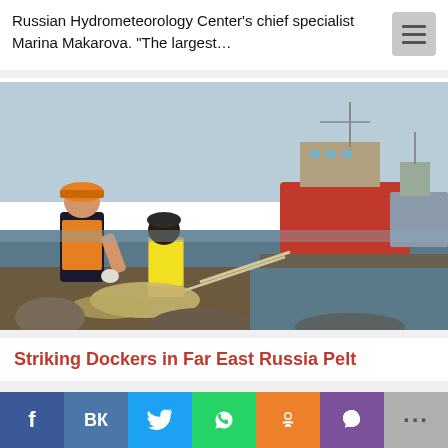Russian Hydrometeorology Center's chief specialist Marina Makarova. “The largest…
[Figure (photo): Two dock workers handling a thick rope at a port, with large cargo ships moored in the background on calm water. One worker wears an orange hard hat and orange vest, the other a yellow safety vest. The photo is taken in natural daylight.]
Striking Dockers in Far East Russia Pelt
f  VK  Twitter  WhatsApp  OK  Viber  …